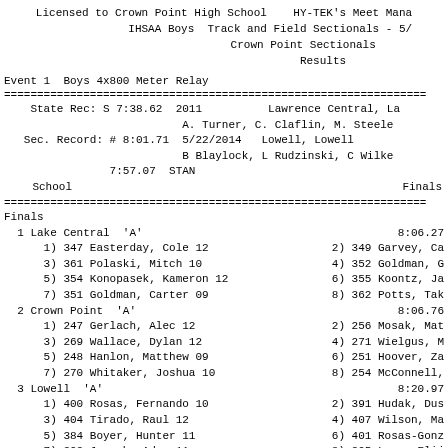Licensed to Crown Point High School    HY-TEK's Meet Mana
              IHSAA Boys  Track and Field Sectionals - 5/
                        Crown Point Sectionals
                              Results
Event 1  Boys 4x800 Meter Relay
| School | Finals |
| --- | --- |
| State Rec: S 7:38.62 2011 | Lawrence Central, La |
|  | A. Turner, C. Claflin, M. Steele |
| Sec. Record: # 8:01.71 5/22/2014 | Lowell, Lowell |
|  | B Blaylock, L Rudzinski, C Wilke |
| 7:57.07 STAN |  |
| Finals |  |
| 1 Lake Central 'A' | 8:06.27 |
| 1) 347 Easterday, Cole 12 | 2) 349 Garvey, Ca |
| 3) 361 Polaski, Mitch 10 | 4) 352 Goldman, G |
| 5) 354 Konopasek, Kameron 12 | 6) 355 Koontz, Ja |
| 7) 351 Goldman, Carter 09 | 8) 362 Potts, Tak |
| 2 Crown Point 'A' | 8:06.76 |
| 1) 247 Gerlach, Alec 12 | 2) 256 Mosak, Mat |
| 3) 269 Wallace, Dylan 12 | 4) 271 Wielgus, M |
| 5) 248 Hanlon, Matthew 09 | 6) 251 Hoover, Za |
| 7) 270 Whitaker, Joshua 10 | 8) 254 McConnell, |
| 3 Lowell 'A' | 8:20.97 |
| 1) 400 Rosas, Fernando 10 | 2) 391 Hudak, Dus |
| 3) 404 Tirado, Raul 12 | 4) 407 Wilson, Ma |
| 5) 384 Boyer, Hunter 11 | 6) 401 Rosas-Gonz |
| 7) 393 Joseph, Adam 11 | 8) 395 Loux, Elij |